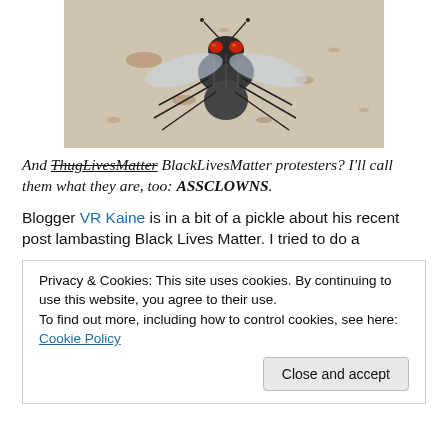[Figure (photo): Close-up photograph of a house fly with red eyes on a dirty white surface with rust-colored spots]
And ThugLivesMatter BlackLivesMatter protesters? I'll call them what they are, too: ASSCLOWNS.
Blogger VR Kaine is in a bit of a pickle about his recent post lambasting Black Lives Matter. I tried to do a
Privacy & Cookies: This site uses cookies. By continuing to use this website, you agree to their use.
To find out more, including how to control cookies, see here: Cookie Policy
Close and accept